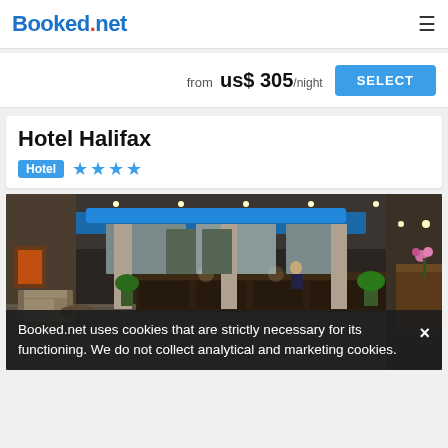Booked.net
from us$ 305/night
SELECT
Hotel Halifax
Hotel ★★★★
[Figure (photo): Interior lobby of Hotel Halifax showing a modern hotel reception area with blue ambient lighting on the ceiling, a dark wood reception desk with a staff member, lounge seating area with chairs and a round table, potted plants, and columns.]
Booked.net uses cookies that are strictly necessary for its functioning. We do not collect analytical and marketing cookies.